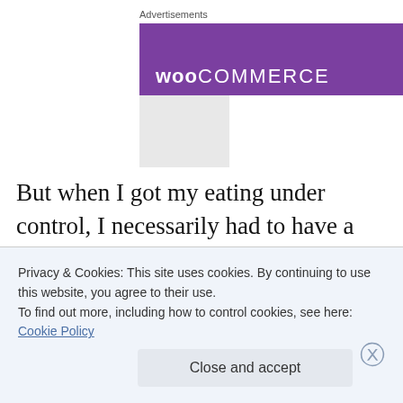Advertisements
[Figure (screenshot): WooCommerce advertisement banner: purple left section with white WooCommerce logo text, gray right section]
But when I got my eating under control, I necessarily had to have a different relationship with my body. I had to ask not what my body could do for me, but ask what I could do for my body. Not to whip it into shape. Not to make it lovable and attractive to anyone who happened to be in its
Privacy & Cookies: This site uses cookies. By continuing to use this website, you agree to their use.
To find out more, including how to control cookies, see here: Cookie Policy
Close and accept